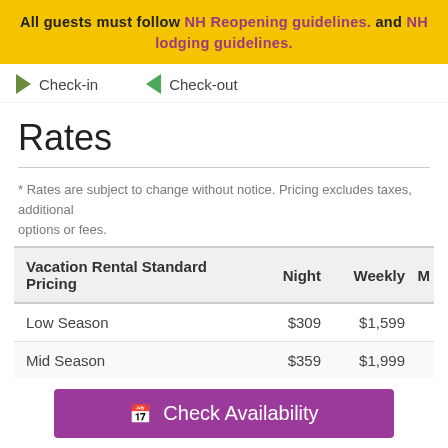All guests must follow NH Reopening guidelines. and NH lodging guidelines.
Check-in   Check-out
Rates
* Rates are subject to change without notice. Pricing excludes taxes, additional options or fees.
| Vacation Rental Standard Pricing | Night | Weekly | M |
| --- | --- | --- | --- |
| Low Season | $309 | $1,599 |  |
| Mid Season | $359 | $1,999 |  |
| Peak Season | $369 | $1,899 |  |
Check Availability